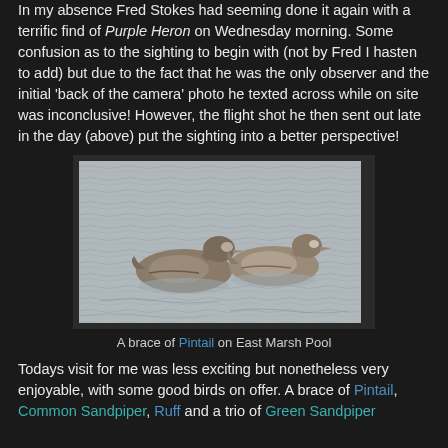In my absence Fred Stokes had seeming done it again with a terrific find of Purple Heron on Wednesday morning. Some confusion as to the sighting to begin with (not by Fred I hasten to add) but due to the fact that he was the only observer and the initial 'back of the camera' photo he texted across while on site was inconclusive! However, the flight shot he then sent out late in the day (above) put the sighting into a better perspective!
[Figure (photo): Two Pintail ducks swimming on water at East Marsh Pool]
A brace of Pintail on East Marsh Pool
Todays visit for me was less exciting but nonetheless very enjoyable, with some good birds on offer. A brace of Pintail, Common Sandpiper, Ruff and a trio of Green Sandpiper